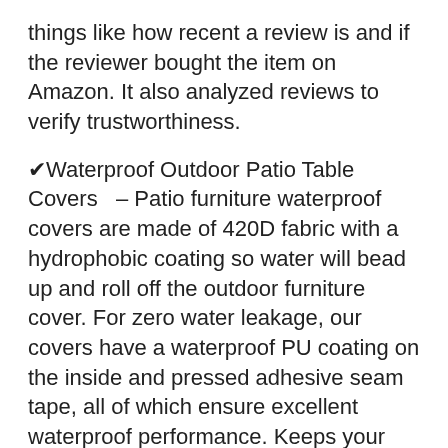things like how recent a review is and if the reviewer bought the item on Amazon. It also analyzed reviews to verify trustworthiness.
✔ Waterproof Outdoor Patio Table Covers – Patio furniture waterproof covers are made of 420D fabric with a hydrophobic coating so water will bead up and roll off the outdoor furniture cover. For zero water leakage, our covers have a waterproof PU coating on the inside and pressed adhesive seam tape, all of which ensure excellent waterproof performance. Keeps your outdoor furniture set dry even in heavy rain.
✔ Windproof Deck Furniture Covers - Specially designed outdoor sofa cover with adjustable drawstring and windproof click-close straps. Adjustable drawstrings provide a custom-like fit. Click-close" straps at each corner hold the cover